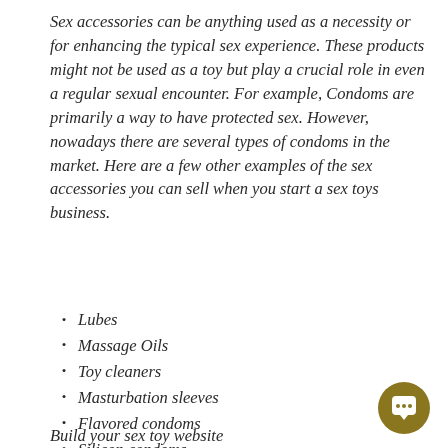Sex accessories can be anything used as a necessity or for enhancing the typical sex experience. These products might not be used as a toy but play a crucial role in even a regular sexual encounter. For example, Condoms are primarily a way to have protected sex. However, nowadays there are several types of condoms in the market. Here are a few other examples of the sex accessories you can sell when you start a sex toys business.
Lubes
Massage Oils
Toy cleaners
Masturbation sleeves
Flavored condoms
Silicon condoms
Build your sex toy website